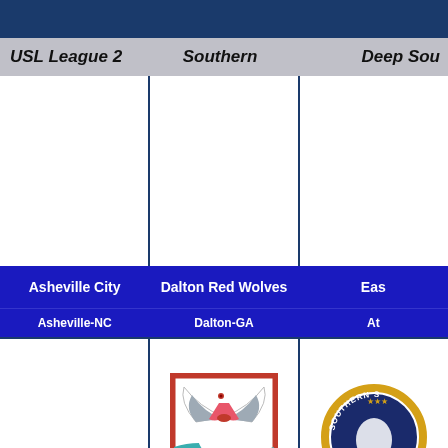USL League 2   Southern   Deep Sou[th]
| Asheville City | Dalton Red Wolves | Eas[t] |
| --- | --- | --- |
| Asheville-NC | Dalton-GA | At[lanta] |
| [logos] | [Dalton Red Wolves logo] | [partial logo] |
| SC United Bantams | South Georgia Tormenta 2 | Southern S[tars] |
| Columbia-SC | Statesboro-GA | Da[lton] |
USL League 2   Southern   Southeas[t]